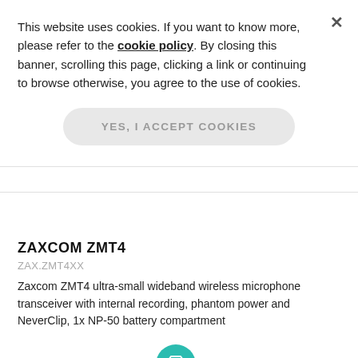This website uses cookies. If you want to know more, please refer to the cookie policy. By closing this banner, scrolling this page, clicking a link or continuing to browse otherwise, you agree to the use of cookies.
YES, I ACCEPT COOKIES
ZAXCOM ZMT4
ZAX.ZMT4XX
Zaxcom ZMT4 ultra-small wideband wireless microphone transceiver with internal recording, phantom power and NeverClip, 1x NP-50 battery compartment
As low as  € 1,995.00